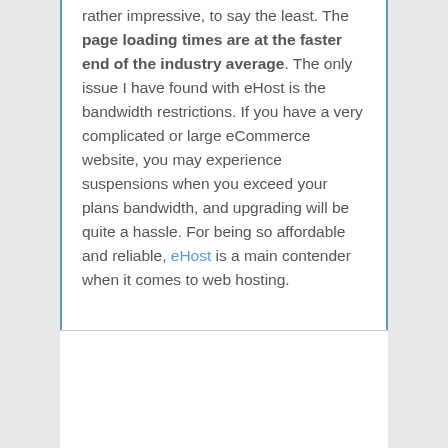rather impressive, to say the least. The page loading times are at the faster end of the industry average. The only issue I have found with eHost is the bandwidth restrictions. If you have a very complicated or large eCommerce website, you may experience suspensions when you exceed your plans bandwidth, and upgrading will be quite a hassle. For being so affordable and reliable, eHost is a main contender when it comes to web hosting.